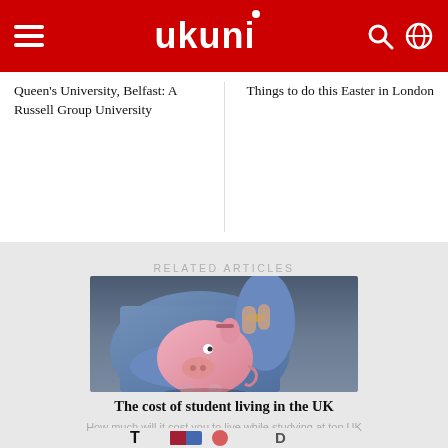UKuni navigation bar
Queen's University, Belfast: A Russell Group University
Things to do this Easter in London
RELATED ARTICLES
[Figure (photo): Person in blue shirt holding a pink piggy bank and inserting a coin into it]
The cost of student living in the UK
How much will it cost you to live while studying at top UK universities?
[Figure (photo): Partial image of logos at the bottom of the page]